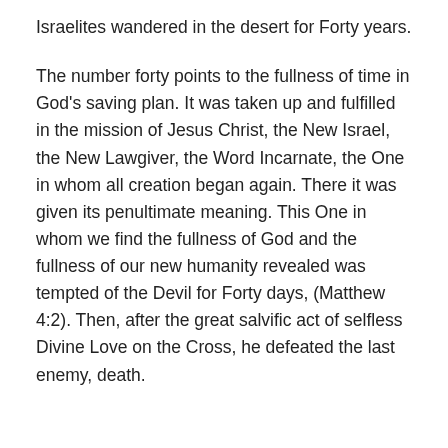Israelites wandered in the desert for Forty years.
The number forty points to the fullness of time in God's saving plan. It was taken up and fulfilled in the mission of Jesus Christ, the New Israel, the New Lawgiver, the Word Incarnate, the One in whom all creation began again. There it was given its penultimate meaning. This One in whom we find the fullness of God and the fullness of our new humanity revealed was tempted of the Devil for Forty days, (Matthew 4:2). Then, after the great salvific act of selfless Divine Love on the Cross, he defeated the last enemy, death.